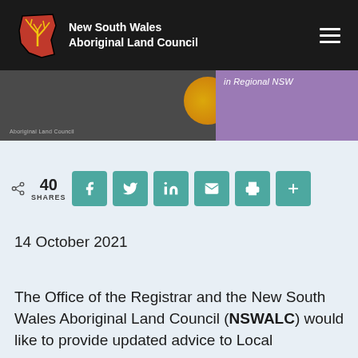New South Wales Aboriginal Land Council
[Figure (screenshot): Banner image strip showing partial article header with purple section reading 'in Regional NSW' and a grey section with social icons]
40 SHARES
14 October 2021
The Office of the Registrar and the New South Wales Aboriginal Land Council (NSWALC) would like to provide updated advice to Local